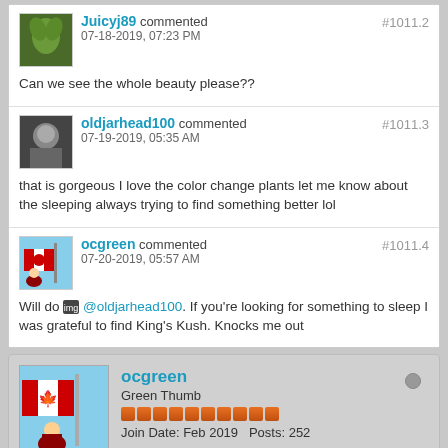Juicyj89 commented 07-18-2019, 07:23 PM #1011.2 — Can we see the whole beauty please??
oldjarhead100 commented 07-19-2019, 05:35 AM #1011.3 — that is gorgeous I love the color change plants let me know about the sleeping always trying to find something better lol
ocgreen commented 07-20-2019, 05:57 AM #1011.4 — Will do @oldjarhead100. If you're looking for something to sleep I was grateful to find King's Kush. Knocks me out
ocgreen — Green Thumb — Join Date: Feb 2019  Posts: 252
07-18-2019, 08:46 PM  #1012